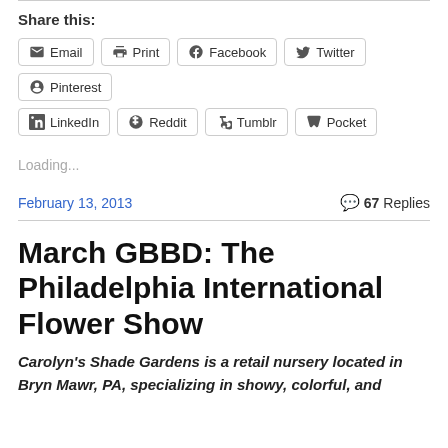Share this:
Email
Print
Facebook
Twitter
Pinterest
LinkedIn
Reddit
Tumblr
Pocket
Loading...
February 13, 2013   67 Replies
March GBBD: The Philadelphia International Flower Show
Carolyn's Shade Gardens is a retail nursery located in Bryn Mawr, PA, specializing in showy, colorful, and